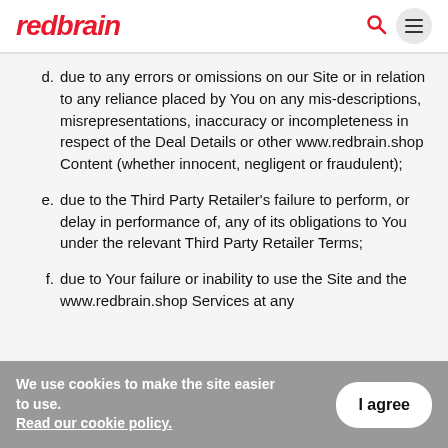redbrain
d. due to any errors or omissions on our Site or in relation to any reliance placed by You on any mis-descriptions, misrepresentations, inaccuracy or incompleteness in respect of the Deal Details or other www.redbrain.shop Content (whether innocent, negligent or fraudulent);
e. due to the Third Party Retailer's failure to perform, or delay in performance of, any of its obligations to You under the relevant Third Party Retailer Terms;
f. due to Your failure or inability to use the Site and the www.redbrain.shop Services at any
We use cookies to make the site easier to use. Read our cookie policy.